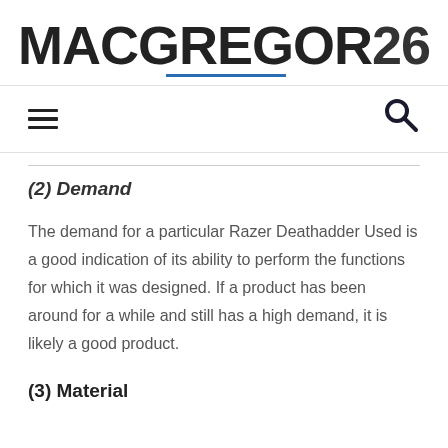MACGREGOR26
(2) Demand
The demand for a particular Razer Deathadder Used is a good indication of its ability to perform the functions for which it was designed. If a product has been around for a while and still has a high demand, it is likely a good product.
(3) Material